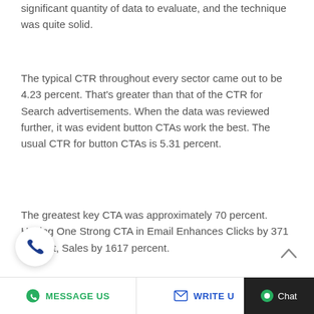significant quantity of data to evaluate, and the technique was quite solid.
The typical CTR throughout every sector came out to be 4.23 percent. That’s greater than that of the CTR for Search advertisements. When the data was reviewed further, it was evident button CTAs work the best. The usual CTR for button CTAs is 5.31 percent.
The greatest key CTA was approximately 70 percent. Having One Strong CTA in Email Enhances Clicks by 371 percent, Sales by 1617 percent.
MESSAGE US   WRITE US   Chat